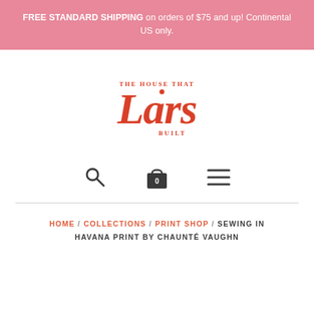FREE STANDARD SHIPPING on orders of $75 and up! Continental US only.
[Figure (logo): The House That Lars Built logo — red serif wordmark with large 'Lars' text and smaller 'THE HOUSE THAT' above and 'BUILT' below]
[Figure (infographic): Navigation icons: search (magnifying glass), shopping bag with '0', and hamburger menu]
HOME / COLLECTIONS / PRINT SHOP / SEWING IN HAVANA PRINT BY CHAUNTÉ VAUGHN